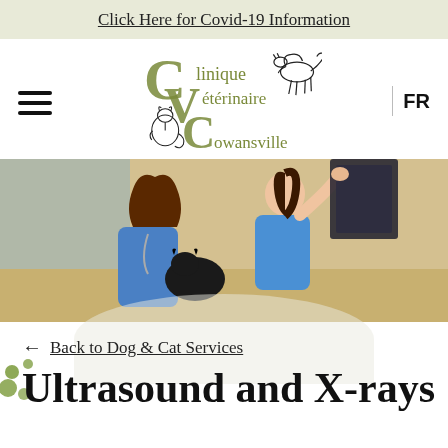Click Here for Covid-19 Information
[Figure (logo): Clinique Vétérinaire Cowansville logo with stylized C, V, C letters in olive green and animal silhouettes (horse and cat)]
[Figure (photo): Two female veterinary staff in blue scrubs examining an X-ray film, one holding a black cat]
← Back to Dog & Cat Services
Ultrasound and X-rays